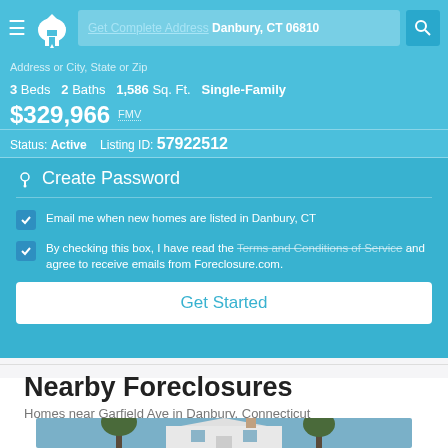Get Complete Address Danbury, CT 06810 | Address or City, State or Zip
3 Beds  2 Baths  1,586 Sq. Ft.  Single-Family
$329,966 FMV
Status: Active   Listing ID: 57922512
Create Password
Email me when new homes are listed in Danbury, CT
By checking this box, I have read the Terms and Conditions of Service and agree to receive emails from Foreclosure.com.
Get Started
Nearby Foreclosures
Homes near Garfield Ave in Danbury, Connecticut
[Figure (photo): House exterior photo showing a white two-story single-family home with trees in the background under a blue sky]